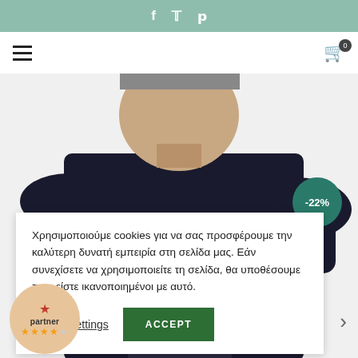f  t  p (social media icons top bar)
[Figure (screenshot): E-commerce product page showing a man wearing a dark navy t-shirt, with a -22% discount badge, cookie consent popup overlay, partner badge bottom left, and navigation elements.]
Χρησιμοποιούμε cookies για να σας προσφέρουμε την καλύτερη δυνατή εμπειρία στη σελίδα μας. Εάν συνεχίσετε να χρησιμοποιείτε τη σελίδα, θα υποθέσουμε πως είστε ικανοποιημένοι με αυτό.
Cookie settings
ACCEPT